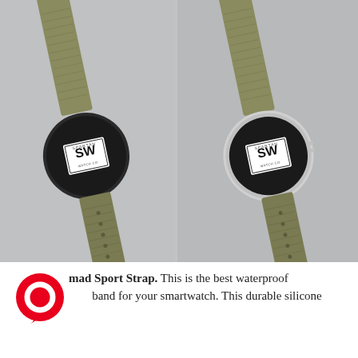[Figure (photo): Two smartwatches with olive/khaki nylon sport straps displayed side by side on a concrete surface. Left watch has a black/dark case, right watch has a silver case. Both display the 'SW' Spartan Watch Co logo on their faces. The straps are laid out diagonally showing both top and bottom portions.]
mad Sport Strap. This is the best waterproof band for your smartwatch. This durable silicone